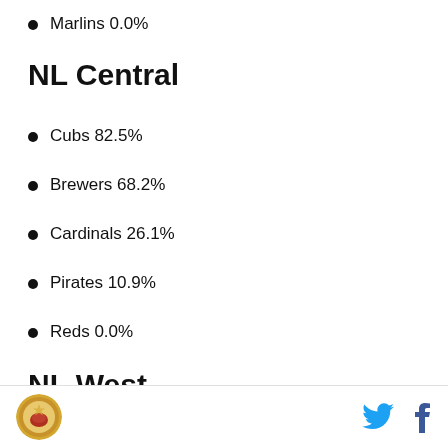Marlins 0.0%
NL Central
Cubs 82.5%
Brewers 68.2%
Cardinals 26.1%
Pirates 10.9%
Reds 0.0%
NL West
Diamondback 64.6%
Dodgers 54.4%